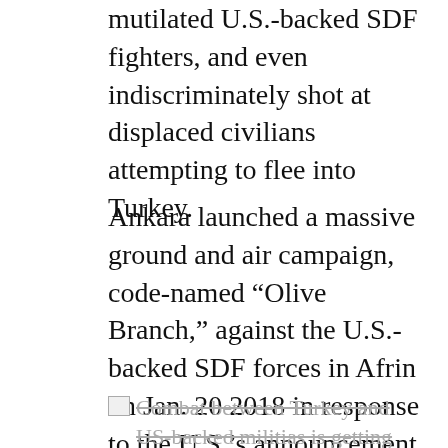mutilated U.S.-backed SDF fighters, and even indiscriminately shot at displaced civilians attempting to flee into Turkey.
Ankara launched a massive ground and air campaign, code-named “Olive Branch,” against the U.S.-backed SDF forces in Afrin on Jan. 20 2018 in response to the U.S.’s announcement that it would train and maintain a 30,000-strong, predominately Kurdish force in the region.
Combat between Turkey and US-backed militias is getting ugly